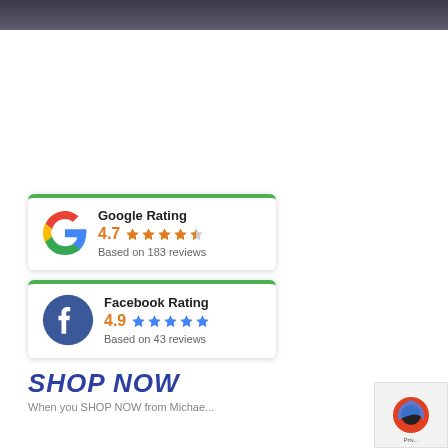[Figure (screenshot): Dark decorative bar at top of page]
[Figure (infographic): Google Rating card: 4.7 stars based on 183 reviews, with Google G logo and green top border]
[Figure (infographic): Facebook Rating card: 4.9 stars based on 43 reviews, with Facebook logo and green top border]
SHOP NOW
When you SHOP NOW from Michae...